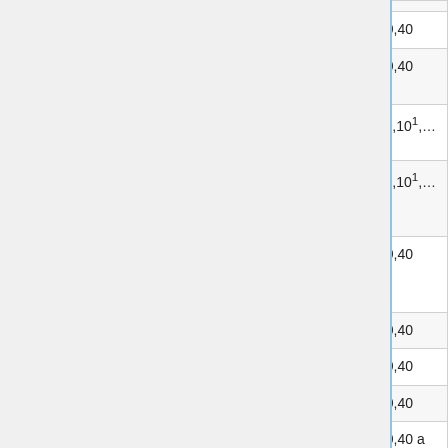|  |  |  |  |
| --- | --- | --- | --- |
| SXTG-2HnD | 1 | 2200-2700 | 20,40 |
| SXTG-2HnDr2 | 1 | 2312-2700 | 20,40 |
| SXTG-5HPacD | 1 | 4920-6100 | 5¹,10¹,… |
| SXTG-5HPacD-HG/-SA | 1 | 4920-6100 | 5¹,10¹,… |
| SXTG-5HPnD-HGr2/-SAr2 | 1 | 4920-6100 | 20,40 |
| SXTG-6HPnD | 1 | 5500-6500 | 20,40 |
| SXTsq2nD | 1 | 2312-2484 | 20,40 |
| wAP2nD /-BE | 1 | 2312-2732 | 20,40 |
| wAPG-5HacT2HnD/-BE | 2 | 2312-2732,4920-6100 | 20,40 a 20,40,8… |